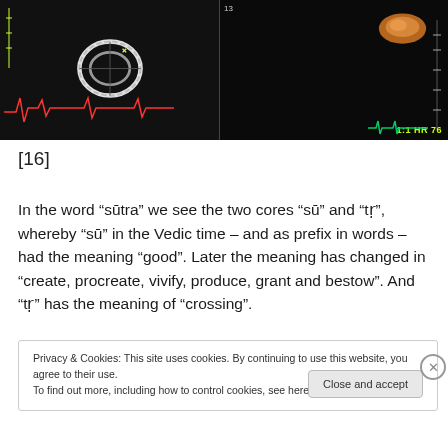[Figure (photo): Medical echocardiogram/ultrasound image showing a cardiac ring structure on the left panel against black background, and an orange anatomical object on the right panel. ECG waveform visible at bottom left. HR 76 label visible bottom right in yellow-green text.]
[16]
In the word “sūtra” we see the two cores “sū” and “tṛ”, whereby “sū” in the Vedic time – and as prefix in words – had the meaning “good”. Later the meaning has changed in “create, procreate, vivify, produce, grant and bestow”. And “tṛ” has the meaning of “crossing”.
Privacy & Cookies: This site uses cookies. By continuing to use this website, you agree to their use.
To find out more, including how to control cookies, see here: Cookie Policy
Close and accept